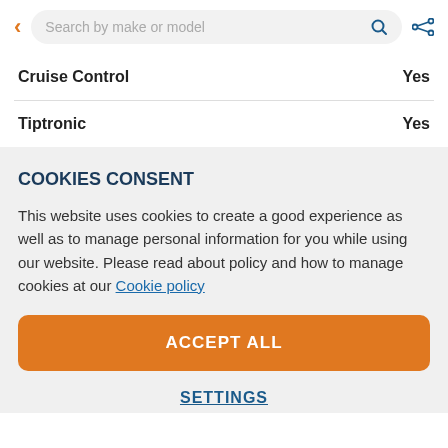< Search by make or model (share icon)
| Feature | Value |
| --- | --- |
| Cruise Control | Yes |
| Tiptronic | Yes |
COOKIES CONSENT
This website uses cookies to create a good experience as well as to manage personal information for you while using our website. Please read about policy and how to manage cookies at our Cookie policy
ACCEPT ALL
SETTINGS